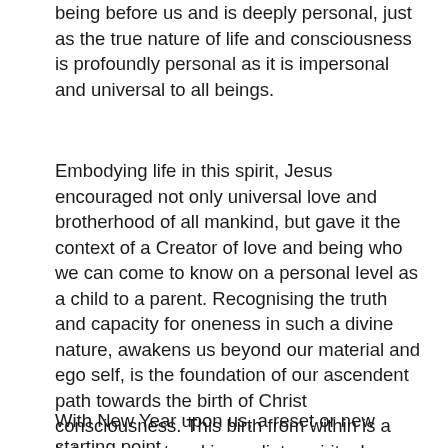being before us and is deeply personal, just as the true nature of life and consciousness is profoundly personal as it is impersonal and universal to all beings.
Embodying life in this spirit, Jesus encouraged not only universal love and brotherhood of all mankind, but gave it the context of a Creator of love and being who we can come to know on a personal level as a child to a parent. Recognising the truth and capacity for oneness in such a divine nature, awakens us beyond our material and ego self, is the foundation of our ascendent path towards the birth of Christ consciousness. This birth from within is a living, present and immediate spiritual cause for celebration for which the traditional nativity scene, the life and teachings of Christ point towards.
With New Year upon us, a reset or new starting point